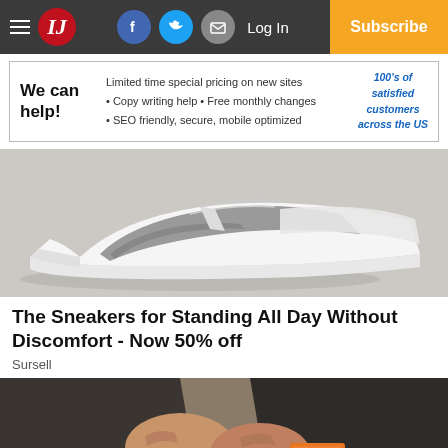IJ | Log In | Subscribe | Facebook | Twitter | Email
[Figure (photo): Advertisement banner: We can help! Limited time special pricing on new sites. Copy writing help. Free monthly changes. SEO friendly, secure, mobile optimized. 100's of satisfied customers across the US.]
[Figure (photo): Close-up photo of a white and grey athletic sneaker on a light wooden surface.]
The Sneakers for Standing All Day Without Discomfort - Now 50% off
Sursell
[Figure (photo): A person in dark jeans sitting and holding an orange box product, photographed from above.]
[Figure (photo): Advertisement banner: We can help! Limited time special pricing on new sites. Copy writing help. Free monthly changes. SEO friendly, secure, mobile optimized. 100's of satisfied customers across the US.]